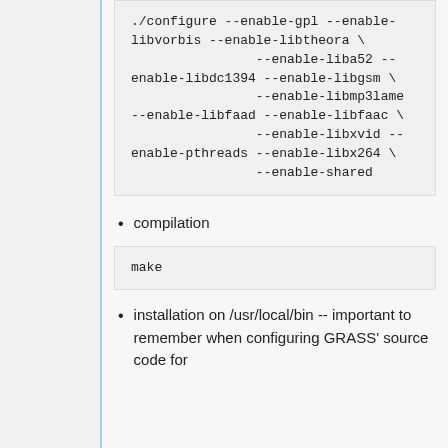./configure --enable-gpl --enable-libvorbis --enable-libtheora \
                --enable-liba52 --enable-libdc1394 --enable-libgsm \
                --enable-libmp3lame --enable-libfaad --enable-libfaac \
                --enable-libxvid --enable-pthreads --enable-libx264 \
                --enable-shared
compilation
make
installation on /usr/local/bin -- important to remember when configuring GRASS' source code for